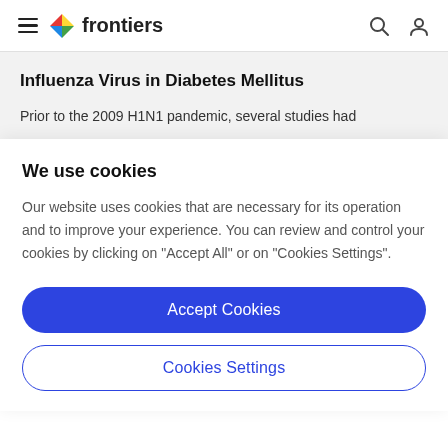frontiers
Influenza Virus in Diabetes Mellitus
Prior to the 2009 H1N1 pandemic, several studies had
We use cookies
Our website uses cookies that are necessary for its operation and to improve your experience. You can review and control your cookies by clicking on "Accept All" or on "Cookies Settings".
Accept Cookies
Cookies Settings